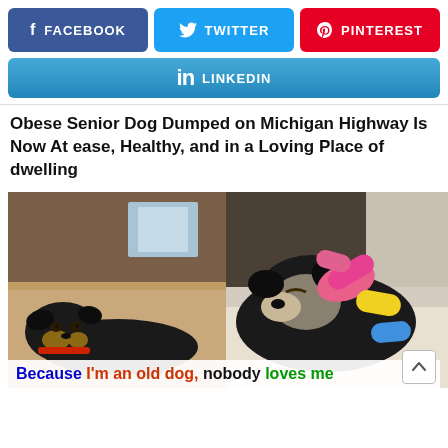[Figure (infographic): Social media share buttons: Facebook (purple), Twitter (blue), Pinterest (red)]
[Figure (infographic): LinkedIn share button (blue gradient)]
Obese Senior Dog Dumped on Michigan Highway Is Now At ease, Healthy, and in a Loving Place of dwelling
[Figure (photo): Two side-by-side photos of a black and tan senior dog. Left: dog lying on a couch looking sad. Right: dog sleeping with colorful toy. Caption overlay reads: Because I'm an old dog, nobody loves me]
Because I'm an old dog, nobody loves me